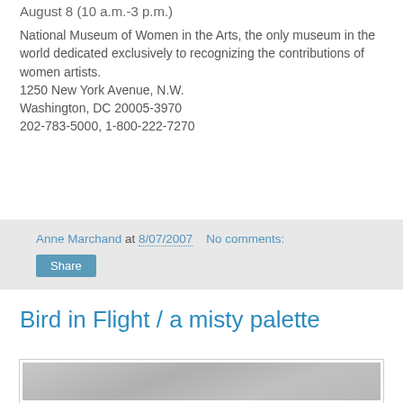August 8 (10 a.m.-3 p.m.)
National Museum of Women in the Arts, the only museum in the world dedicated exclusively to recognizing the contributions of women artists.
1250 New York Avenue, N.W.
Washington, DC 20005-3970
202-783-5000, 1-800-222-7270
Anne Marchand at 8/07/2007    No comments:
Share
Bird in Flight / a misty palette
[Figure (photo): A grey/silver rectangular image, appears to be a photograph with a muted silver-grey tone, partially cropped at the bottom of the page.]